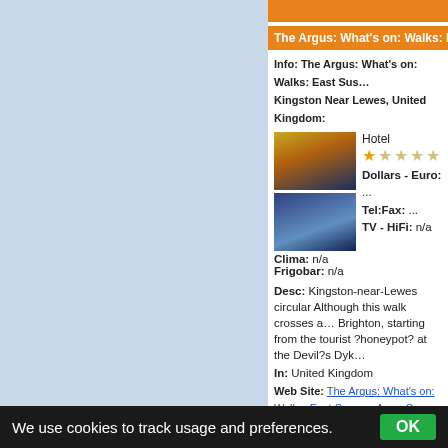The Argus: What's on: Walks: East Sussex: A...
Info: The Argus: What's on: Walks: East Sussex: Kingston Near Lewes, United Kingdom:
[Figure (photo): Two hotel photos - top shows building with pool at night, bottom shows blue-lit hotel exterior]
Hotel ★☆☆☆☆
Dollars - Euro: ...
Tel:Fax: ...
TV - HiFi: n/a
Clima: n/a
Frigobar: n/a
Desc: Kingston-near-Lewes circular Although this walk crosses a... Brighton, starting from the tourist ?honeypot? at the Devil?s Dyk...
In: United Kingdom
Web Site: The Argus: What's on: Walks: East Sussex: Area: Sea...
Web Link: http://www.theargus.co.uk/whatson/walks/eastsussex...
We use cookies to track usage and preferences.  OK